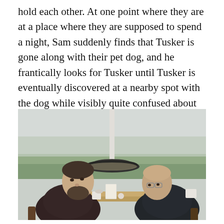hold each other. At one point where they are at a place where they are supposed to spend a night, Sam suddenly finds that Tusker is gone along with their pet dog, and he frantically looks for Tusker until Tusker is eventually discovered at a nearby spot with the dog while visibly quite confused about his current status.
[Figure (photo): Two men sitting across from each other at a table in what appears to be a cafe or restaurant with large windows showing a rural landscape in the background. A pendant lamp hangs between them. The man on the left has dark hair and a beard, wearing a dark puffer jacket. The man on the right is bald with glasses, wearing a dark jacket.]